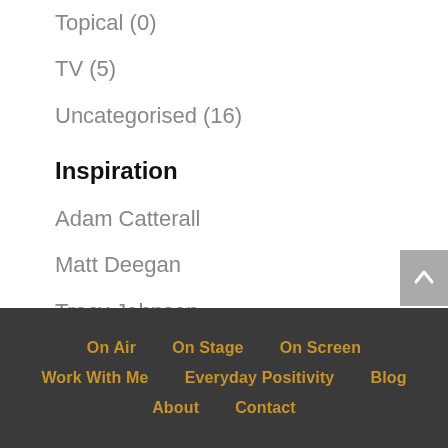Topical (0)
TV (5)
Uncategorised (16)
Inspiration
Adam Catterall
Matt Deegan
Tracy Johnson
Whats Goes On Media
On Air  On Stage  On Screen  Work With Me  Everyday Positivity  Blog  About  Contact